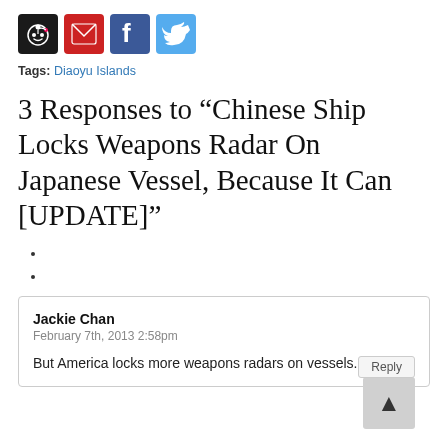[Figure (other): Social sharing icons: Reddit (dark), Gmail (red), Facebook (blue), Twitter (light blue)]
Tags: Diaoyu Islands
3 Responses to “Chinese Ship Locks Weapons Radar On Japanese Vessel, Because It Can [UPDATE]”
Jackie Chan
February 7th, 2013 2:58pm
But America locks more weapons radars on vessels.